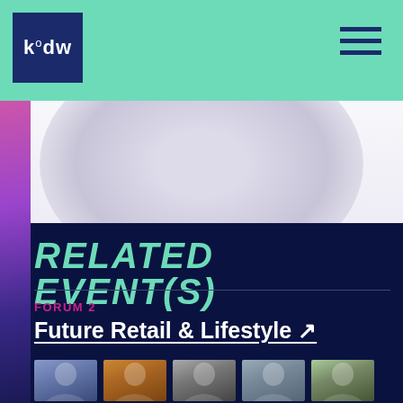kodw
[Figure (photo): Background decorative circle/blob in light lavender on white background]
RELATED EVENT(S)
FORUM 2
Future Retail & Lifestyle ↗
[Figure (photo): Row of five speaker headshot thumbnail photos]